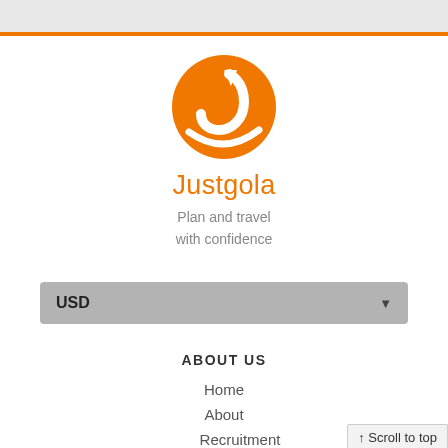[Figure (logo): Justgola logo: orange circle with a white stylized letter J arrow shape inside]
Justgola
Plan and travel with confidence
USD
ABOUT US
Home
About
Recruitment
↑ Scroll to top
SUPPORT